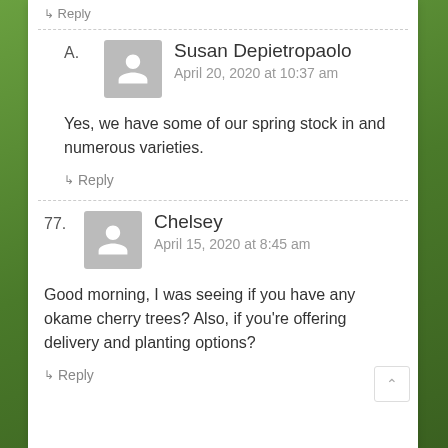↳ Reply
Susan Depietropaolo
April 20, 2020 at 10:37 am
Yes, we have some of our spring stock in and numerous varieties.
↳ Reply
Chelsey
April 15, 2020 at 8:45 am
Good morning, I was seeing if you have any okame cherry trees? Also, if you're offering delivery and planting options?
↳ Reply